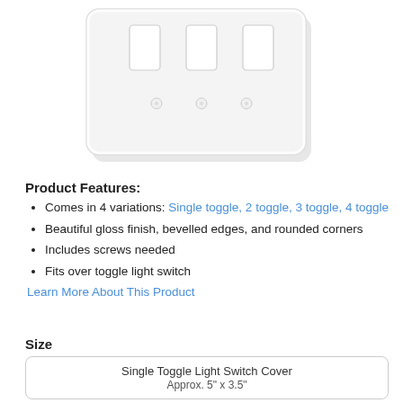[Figure (photo): White triple toggle light switch cover plate, shown centered near the top of the page, with a light gray border and slight shadow effect.]
Product Features:
Comes in 4 variations: Single toggle, 2 toggle, 3 toggle, 4 toggle
Beautiful gloss finish, bevelled edges, and rounded corners
Includes screws needed
Fits over toggle light switch
Learn More About This Product
Size
| Size Option | Dimensions |
| --- | --- |
| Single Toggle Light Switch Cover | Approx. 5" x 3.5" |
| 2 Toggle Light Switch | Approx. 5" x 4.5" |
| 3 Toggle Light Switch Cover | Approx. 5" x 6.5" |